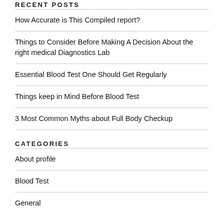RECENT POSTS
How Accurate is This Compiled report?
Things to Consider Before Making A Decision About the right medical Diagnostics Lab
Essential Blood Test One Should Get Regularly
Things keep in Mind Before Blood Test
3 Most Common Myths about Full Body Checkup
CATEGORIES
About profile
Blood Test
General